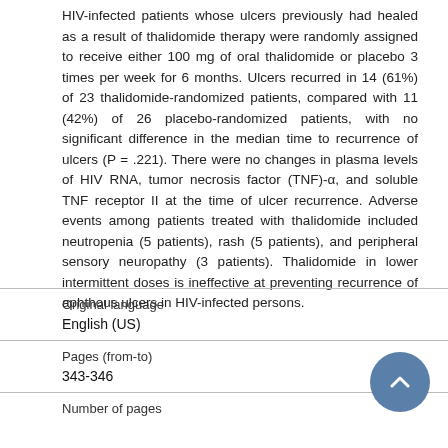HIV-infected patients whose ulcers previously had healed as a result of thalidomide therapy were randomly assigned to receive either 100 mg of oral thalidomide or placebo 3 times per week for 6 months. Ulcers recurred in 14 (61%) of 23 thalidomide-randomized patients, compared with 11 (42%) of 26 placebo-randomized patients, with no significant difference in the median time to recurrence of ulcers (P = .221). There were no changes in plasma levels of HIV RNA, tumor necrosis factor (TNF)-α, and soluble TNF receptor II at the time of ulcer recurrence. Adverse events among patients treated with thalidomide included neutropenia (5 patients), rash (5 patients), and peripheral sensory neuropathy (3 patients). Thalidomide in lower intermittent doses is ineffective at preventing recurrence of aphthous ulcers in HIV-infected persons.
| Field | Value |
| --- | --- |
| Original language | English (US) |
| Pages (from-to) | 343-346 |
| Number of pages |  |